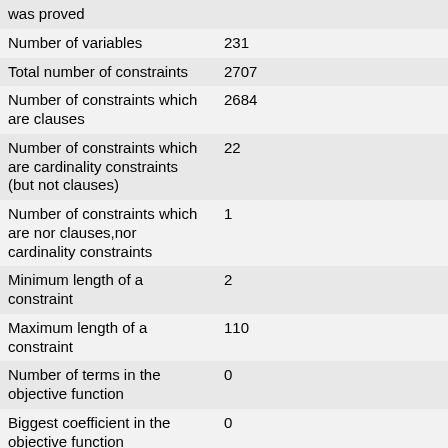| was proved |  |
| Number of variables | 231 |
| Total number of constraints | 2707 |
| Number of constraints which are clauses | 2684 |
| Number of constraints which are cardinality constraints (but not clauses) | 22 |
| Number of constraints which are nor clauses,nor cardinality constraints | 1 |
| Minimum length of a constraint | 2 |
| Maximum length of a constraint | 110 |
| Number of terms in the objective function | 0 |
| Biggest coefficient in the objective function | 0 |
| Number of bits for the biggest coefficient in the objective function | 0 |
| Sum of the numbers in the objective function | 0 |
| Number of bits of the sum of numbers in the objective function | 0 |